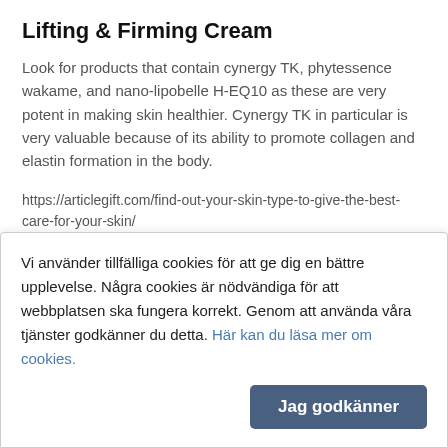Lifting & Firming Cream
Look for products that contain cynergy TK, phytessence wakame, and nano-lipobelle H-EQ10 as these are very potent in making skin healthier. Cynergy TK in particular is very valuable because of its ability to promote collagen and elastin formation in the body.
https://articlegift.com/find-out-your-skin-type-to-give-the-best-care-for-your-skin/
24 februari 2020 06:01 av daisyjohn
http://beatboxportal.com/blood-sugar-premier-revie
Blood sugar, or glucose, is the main sugar found in blood. The body
Vi använder tillfälliga cookies för att ge dig en bättre upplevelse. Några cookies är nödvändiga för att webbplatsen ska fungera korrekt. Genom att använda våra tjänster godkänner du detta. Här kan du läsa mer om cookies.
Jag godkänner